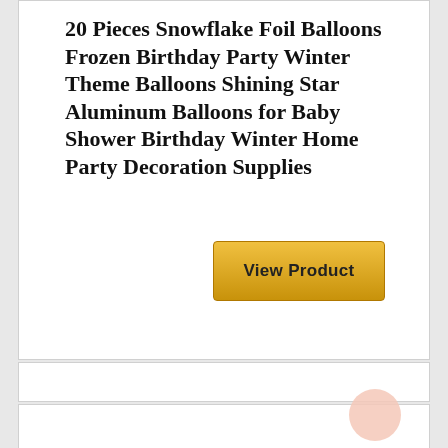20 Pieces Snowflake Foil Balloons Frozen Birthday Party Winter Theme Balloons Shining Star Aluminum Balloons for Baby Shower Birthday Winter Home Party Decoration Supplies
[Figure (other): Golden 'View Product' button]
[Figure (other): Empty white card sections with a peach/salmon circle icon in bottom right]